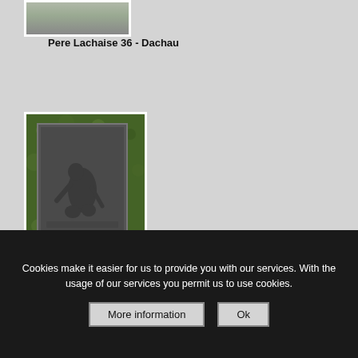[Figure (photo): Thumbnail photograph of a memorial or grave structure at Pere Lachaise cemetery, partially visible at top of page]
Pere Lachaise 36 - Dachau
[Figure (photo): Photograph of a dark stone plaque mounted against green hedge/foliage, featuring a relief sculpture of a hunched human figure, representing Dachau memorial at Pere Lachaise cemetery]
Pere Lachaise 37 - plaque for Dachau
Cookies make it easier for us to provide you with our services. With the usage of our services you permit us to use cookies.
More information
Ok